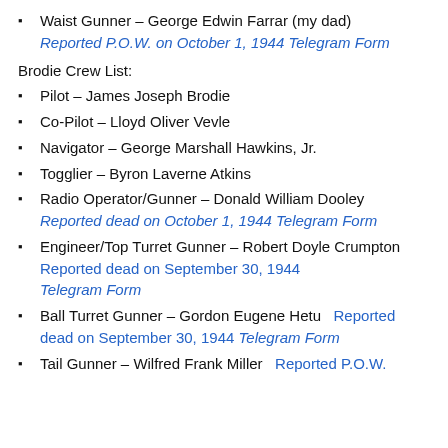Waist Gunner – George Edwin Farrar (my dad) Reported P.O.W. on October 1, 1944 Telegram Form
Brodie Crew List:
Pilot – James Joseph Brodie
Co-Pilot – Lloyd Oliver Vevle
Navigator – George Marshall Hawkins, Jr.
Togglier – Byron Laverne Atkins
Radio Operator/Gunner – Donald William Dooley Reported dead on October 1, 1944 Telegram Form
Engineer/Top Turret Gunner – Robert Doyle Crumpton Reported dead on September 30, 1944 Telegram Form
Ball Turret Gunner – Gordon Eugene Hetu Reported dead on September 30, 1944 Telegram Form
Tail Gunner – Wilfred Frank Miller Reported P.O.W.